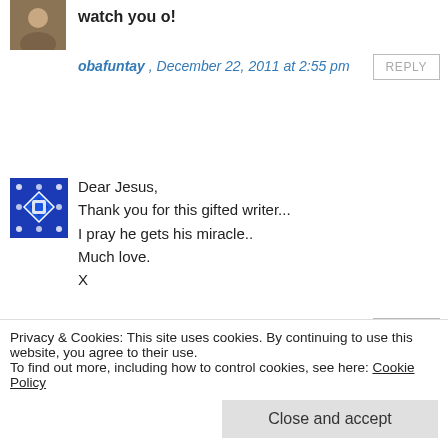[Figure (photo): Small square avatar photo of a person]
watch you o!
obafuntay , December 22, 2011 at 2:55 pm
REPLY
[Figure (illustration): Blue decorative geometric avatar icon with diamonds and dots pattern]
Dear Jesus,
Thank you for this gifted writer...
I pray he gets his miracle..
Much love.
X
dami , December 22, 2011 at 1:18 pm
REPLY
Privacy & Cookies: This site uses cookies. By continuing to use this website, you agree to their use.
To find out more, including how to control cookies, see here: Cookie Policy
Close and accept